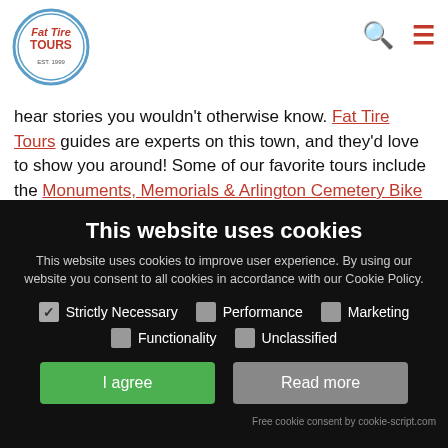[Figure (logo): Fat Tire Tours circular logo with red text]
hear stories you wouldn't otherwise know. Fat Tire Tours guides are experts on this town, and they'd love to show you around! Some of our favorite tours include the Monuments, Memorials & Arlington Cemetery Bike Tour, the Monuments & Memorials Night Bike Tour, and the ever-
This website uses cookies
This website uses cookies to improve user experience. By using our website you consent to all cookies in accordance with our Cookie Policy.
Strictly Necessary
Performance
Marketing
Functionality
Unclassified
Free cookie consent by cookie-script.com